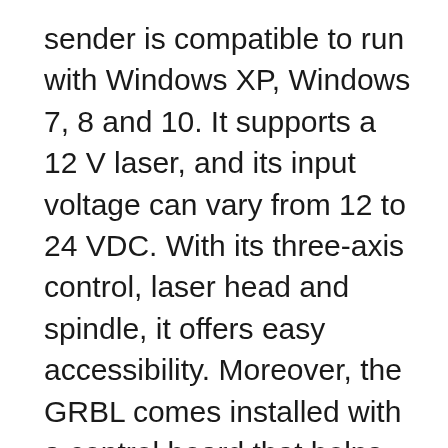sender is compatible to run with Windows XP, Windows 7, 8 and 10. It supports a 12 V laser, and its input voltage can vary from 12 to 24 VDC. With its three-axis control, laser head and spindle, it offers easy accessibility. Moreover, the GRBL comes installed with a control board that helps to keep away from short circuit issues even when using it for a long time.
RATTM Motor CNC controller has an easy power button. The drive module is well connected with the motor drive, offering protection from short circuits enabling smooth heart distribution through a quality aluminum alloy body.